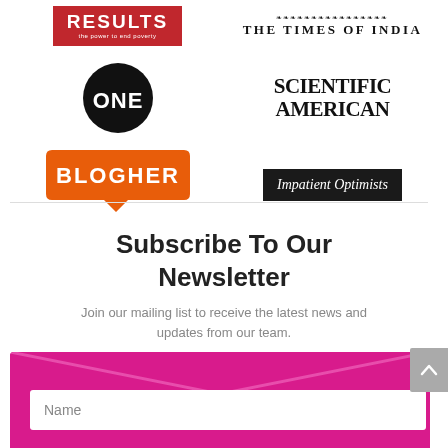[Figure (logo): RESULTS - the power to end poverty logo (red background, white text)]
[Figure (logo): The Times of India logo with ornamental header]
[Figure (logo): ONE (circle logo with ONE text in black circle)]
[Figure (logo): Scientific American logo in bold serif font]
[Figure (logo): BlogHer logo in orange speech-bubble shape]
[Figure (logo): Impatient Optimists logo in black rectangle with white italic text]
Subscribe To Our Newsletter
Join our mailing list to receive the latest news and updates from our team.
[Figure (infographic): Pink/magenta newsletter signup form area with envelope V-shape and Name input field]